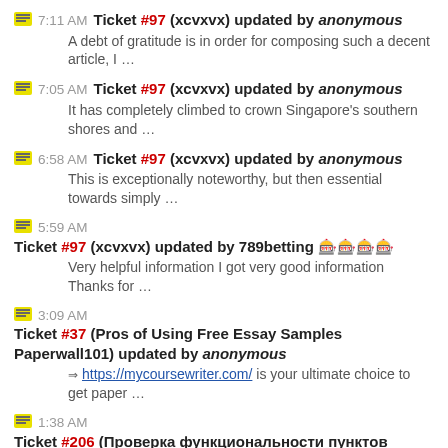7:11 AM Ticket #97 (xcvxvx) updated by anonymous
A debt of gratitude is in order for composing such a decent article, I …
7:05 AM Ticket #97 (xcvxvx) updated by anonymous
It has completely climbed to crown Singapore's southern shores and …
6:58 AM Ticket #97 (xcvxvx) updated by anonymous
This is exceptionally noteworthy, but then essential towards simply …
5:59 AM Ticket #97 (xcvxvx) updated by 789betting 🎰🎰🎰🎰
Very helpful information I got very good information Thanks for …
3:09 AM Ticket #37 (Pros of Using Free Essay Samples Paperwall101) updated by anonymous
https://mycoursewriter.com/ is your ultimate choice to get paper …
1:38 AM Ticket #206 (Проверка функциональности пунктов меню Calculator. Подпункт «Paste».) updated by https://gravolstuff.com/